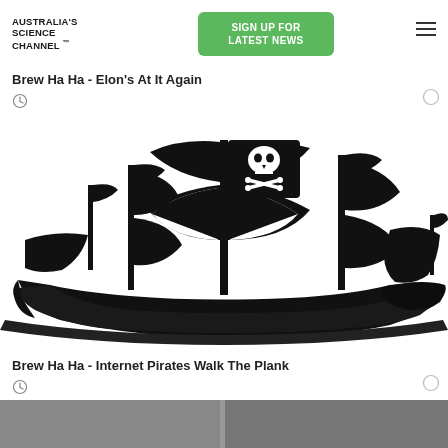AUSTRALIA'S SCIENCE CHANNEL™
SIGN UP FOR LATEST NEWS
Brew Ha Ha - Elon's At It Again
[Figure (illustration): Black silhouette illustration of a pirate ship with skull-and-crossbones flag on the main mast and multiple sails]
Brew Ha Ha - Internet Pirates Walk The Plank